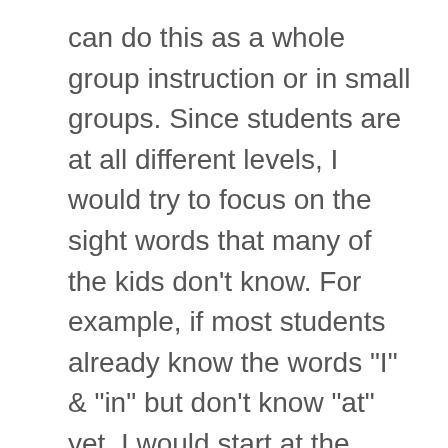can do this as a whole group instruction or in small groups. Since students are at all different levels, I would try to focus on the sight words that many of the kids don’t know. For example, if most students already know the words “I” & “in” but don’t know “at” yet, I would start at the word “at”.